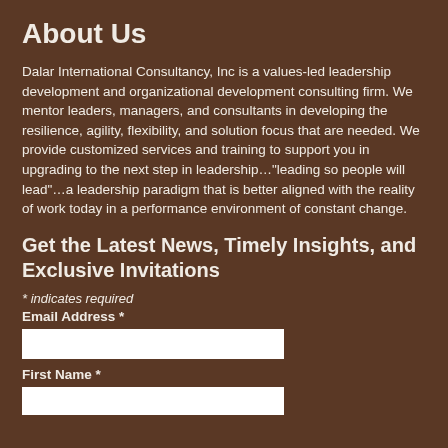About Us
Dalar International Consultancy, Inc is a values-led leadership development and organizational development consulting firm. We mentor leaders, managers, and consultants in developing the resilience, agility, flexibility, and solution focus that are needed. We provide customized services and training to support you in upgrading to the next step in leadership..."leading so people will lead"...a leadership paradigm that is better aligned with the reality of work today in a performance environment of constant change.
Get the Latest News, Timely Insights, and Exclusive Invitations
* indicates required
Email Address *
First Name *